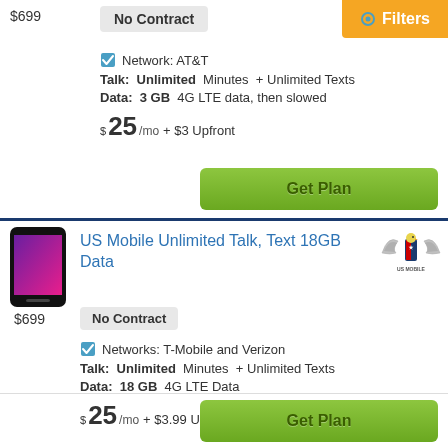$699
No Contract
Filters
Network: AT&T
Talk: Unlimited Minutes + Unlimited Texts
Data: 3 GB  4G LTE data, then slowed
$25 /mo + $3 Upfront
Get Plan
[Figure (photo): iPhone 11 smartphone]
US Mobile Unlimited Talk, Text 18GB Data
[Figure (logo): US Mobile logo with eagle wings]
$699
No Contract
Networks: T-Mobile and Verizon
Talk: Unlimited Minutes + Unlimited Texts
Data: 18 GB  4G LTE Data
$25 /mo + $3.99 Upfront
Get Plan